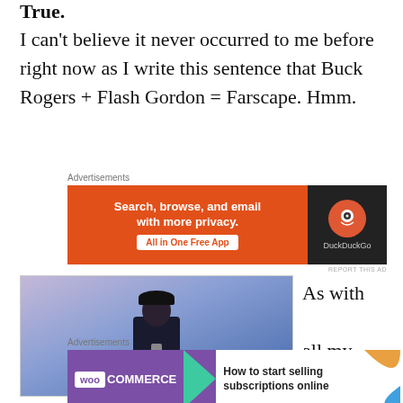I can't believe it never occurred to me before right now as I write this sentence that Buck Rogers + Flash Gordon = Farscape.  Hmm.
[Figure (screenshot): DuckDuckGo advertisement banner: orange background with text 'Search, browse, and email with more privacy. All in One Free App' and DuckDuckGo logo on dark background]
[Figure (photo): A person in dark clothing/uniform standing against a blue-purple background]
As with all my other examples
[Figure (screenshot): WooCommerce advertisement: purple background with WooCommerce logo, teal arrow, and text 'How to start selling subscriptions online' on white background with decorative leaf shapes]